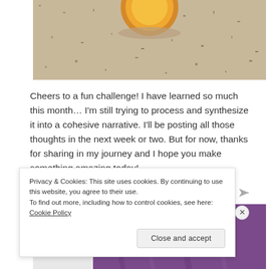[Figure (photo): Close-up photo of an egg yolk in a bowl on a granite countertop, partially cropped at top]
Cheers to a fun challenge! I have learned so much this month... I'm still trying to process and synthesize it into a cohesive narrative. I'll be posting all those thoughts in the next week or two. But for now, thanks for sharing in my journey and I hope you make something amazing today!
Sponsored Content
[Figure (photo): Partially visible image below the Sponsored Content header, showing purple/violet tones]
Privacy & Cookies: This site uses cookies. By continuing to use this website, you agree to their use.
To find out more, including how to control cookies, see here: Cookie Policy
Close and accept